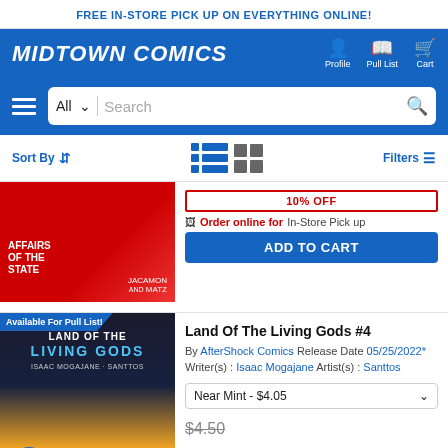FREE IN-STORE PICK UP ON EVERYTHING ONLINE!
MIDTOWN COMICS
Profile  Pull List  Cart
All  Search
Sort By  Filters
[Figure (screenshot): Comic book cover showing 'Affairs of the State' by Jacamon and Matz with red cover]
10% OFF
Order online for In-Store Pick up
ADD TO CART
Available For Pull List!
[Figure (screenshot): Comic book cover for 'Land of the Living Gods' by Isaac Mogajane and Santtos, dark blue and orange cover]
Land Of The Living Gods #4
By AfterShock Comics Release Date 05/25/2022* Writer(s) : Isaac Mogajane Artist(s) : Santtos
Near Mint - $4.05
$4.50